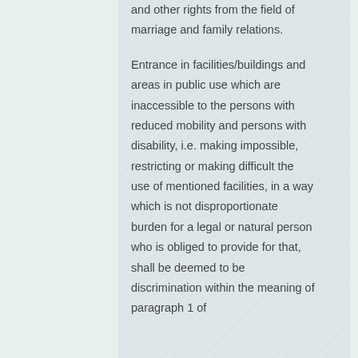and other rights from the field of marriage and family relations.

Entrance in facilities/buildings and areas in public use which are inaccessible to the persons with reduced mobility and persons with disability, i.e. making impossible, restricting or making difficult the use of mentioned facilities, in a way which is not disproportionate burden for a legal or natural person who is obliged to provide for that, shall be deemed to be discrimination within the meaning of paragraph 1 of